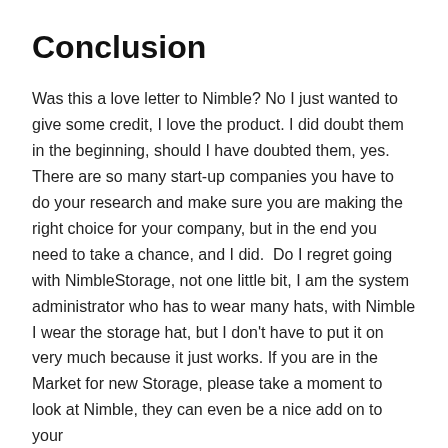Conclusion
Was this a love letter to Nimble? No I just wanted to give some credit, I love the product. I did doubt them in the beginning, should I have doubted them, yes. There are so many start-up companies you have to do your research and make sure you are making the right choice for your company, but in the end you need to take a chance, and I did.  Do I regret going with NimbleStorage, not one little bit, I am the system administrator who has to wear many hats, with Nimble I wear the storage hat, but I don't have to put it on very much because it just works. If you are in the Market for new Storage, please take a moment to look at Nimble, they can even be a nice add on to your